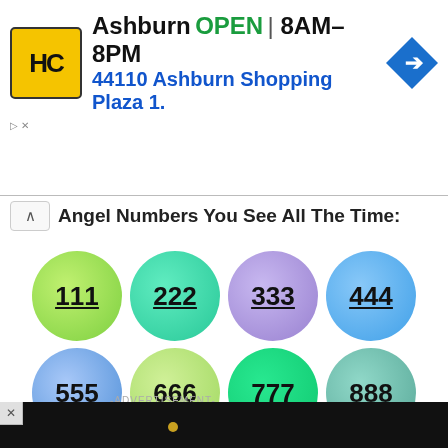[Figure (screenshot): Advertisement banner for Haircut place in Ashburn showing logo, OPEN status, hours 8AM-8PM, address 44110 Ashburn Shopping Plaza 1., and navigation arrow icon]
Angel Numbers You See All The Time:
[Figure (infographic): Grid of 8 colorful circles with angel numbers: 111 (green), 222 (teal), 333 (purple), 444 (blue), 555 (light blue), 666 (yellow-green), 777 (green), 888 (teal-gray), each underlined as links]
[Figure (screenshot): Dark video thumbnail area showing How To Open 7 Chakras - Meditation and Healing - SunSigns.Org]
[Figure (screenshot): Bottom advertisement banner for Haircut place in Ashburn showing OPEN 8AM-8PM, 44110 Ashburn Shopping Plaza ...]